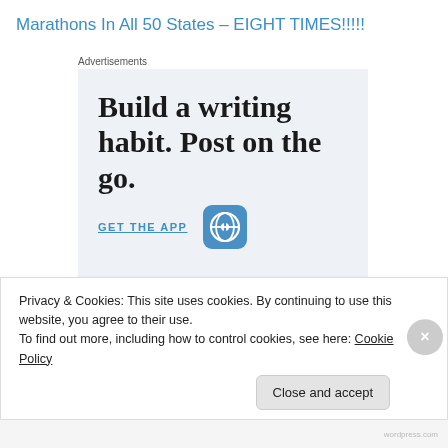Marathons In All 50 States – EIGHT TIMES!!!!!
Advertisements
[Figure (screenshot): WordPress app advertisement showing 'Build a writing habit. Post on the go.' with 'GET THE APP' link and WordPress logo]
Privacy & Cookies: This site uses cookies. By continuing to use this website, you agree to their use.
To find out more, including how to control cookies, see here: Cookie Policy
Close and accept